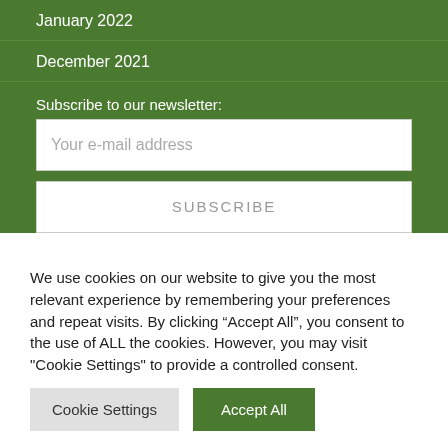January 2022
December 2021
Subscribe to our newsletter:
Your e-mail address
SUBSCRIBE
We use cookies on our website to give you the most relevant experience by remembering your preferences and repeat visits. By clicking “Accept All”, you consent to the use of ALL the cookies. However, you may visit "Cookie Settings" to provide a controlled consent.
Cookie Settings
Accept All